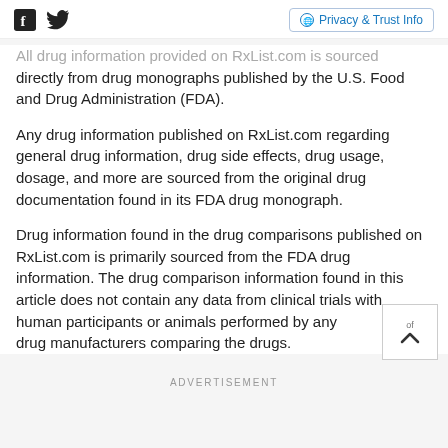Facebook Twitter Privacy & Trust Info
All drug information provided on RxList.com is sourced directly from drug monographs published by the U.S. Food and Drug Administration (FDA).
Any drug information published on RxList.com regarding general drug information, drug side effects, drug usage, dosage, and more are sourced from the original drug documentation found in its FDA drug monograph.
Drug information found in the drug comparisons published on RxList.com is primarily sourced from the FDA drug information. The drug comparison information found in this article does not contain any data from clinical trials with human participants or animals performed by any of the drug manufacturers comparing the drugs.
ADVERTISEMENT